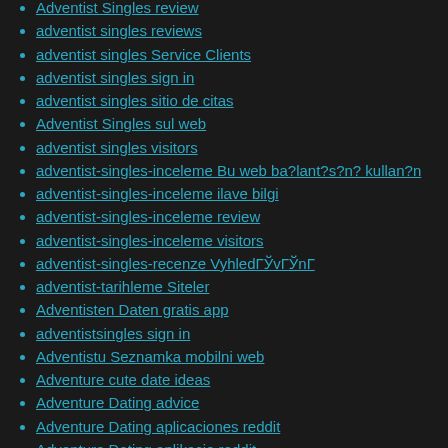Adventist Singles review
adventist singles reviews
adventist singles Service Clients
adventist singles sign in
adventist singles sitio de citas
Adventist Singles sul web
adventist singles visitors
adventist-singles-inceleme Bu web ba?lant?s?n? kullan?n
adventist-singles-inceleme ilave bilgi
adventist-singles-inceleme review
adventist-singles-inceleme visitors
adventist-singles-recenze VyhledГЎvГЎnГ
adventist-tarihleme Siteler
Adventisten Daten gratis app
adventistsingles sign in
Adventistu Seznamka mobilni web
Adventure cute date ideas
Adventure Dating advice
Adventure Dating aplicaciones reddit
Adventure Dating aplikacje reddit
Adventure Dating app
Adventure Dating dienst
Adventure Dating hookup site
adventure dating login
Adventure Dating Nederland